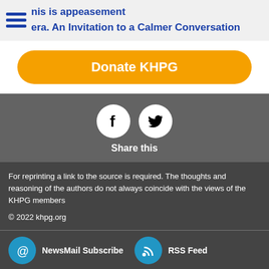nis is appeasement | era. An Invitation to a Calmer Conversation
Donate KHPG
[Figure (illustration): Facebook and Twitter share icons (white circles with f and bird logos on grey background), with 'Share this' text below]
For reprinting a link to the source is required. The thoughts and reasoning of the authors do not always coincide with the views of the KHPG members
© 2022 khpg.org
NewsMail Subscribe
RSS Feed
The mode of saving Internet traffic by reducing the size of images
Contrasting design theme (visually impaired)